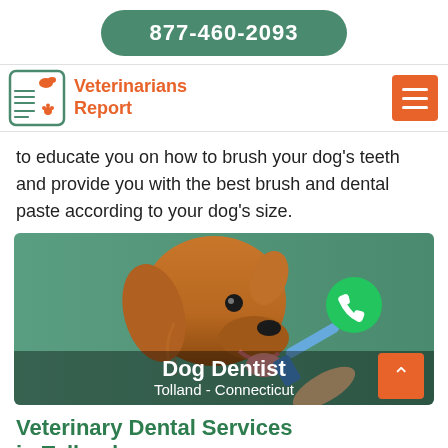877-460-2093
Veterinarians Report
to educate you on how to brush your dog's teeth and provide you with the best brush and dental paste according to your dog's size.
[Figure (photo): Golden retriever dog having its teeth brushed with a blue toothbrush, overlaid text 'Dog Dentist Tolland - Connecticut', green phone icon circle on the right side.]
Veterinary Dental Services in Tolland